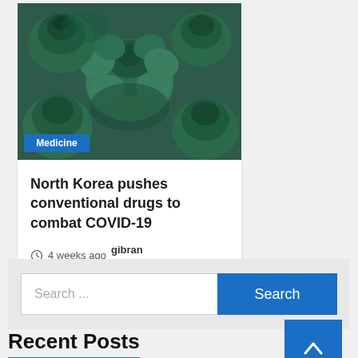[Figure (photo): Close-up photo of green succulent plants with a blue 'Medicine' badge overlay at bottom-left]
North Korea pushes conventional drugs to combat COVID-19
4 weeks ago  gibran reno
Search ...
Recent Posts